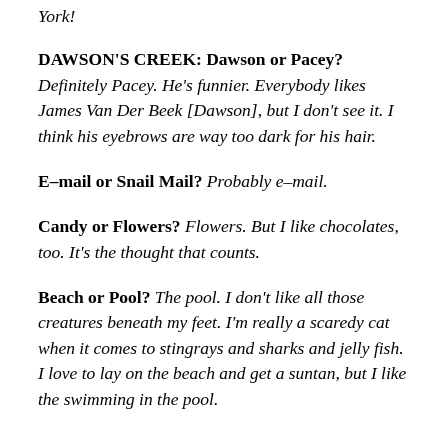York!
DAWSON'S CREEK: Dawson or Pacey? Definitely Pacey. He's funnier. Everybody likes James Van Der Beek [Dawson], but I don't see it. I think his eyebrows are way too dark for his hair.
E-mail or Snail Mail? Probably e-mail.
Candy or Flowers? Flowers. But I like chocolates, too. It's the thought that counts.
Beach or Pool? The pool. I don't like all those creatures beneath my feet. I'm really a scaredy cat when it comes to stingrays and sharks and jelly fish. I love to lay on the beach and get a suntan, but I like the swimming in the pool.